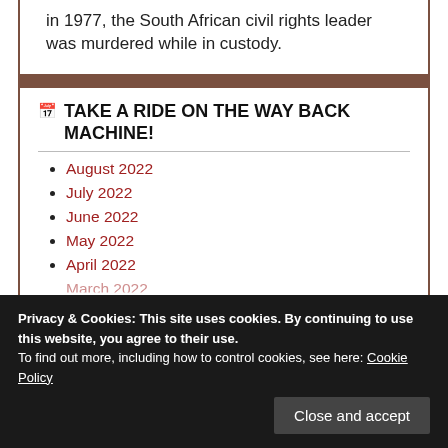in 1977, the South African civil rights leader was murdered while in custody.
TAKE A RIDE ON THE WAY BACK MACHINE!
August 2022
July 2022
June 2022
May 2022
April 2022
March 2022
October 2021
Privacy & Cookies: This site uses cookies. By continuing to use this website, you agree to their use. To find out more, including how to control cookies, see here: Cookie Policy
Close and accept